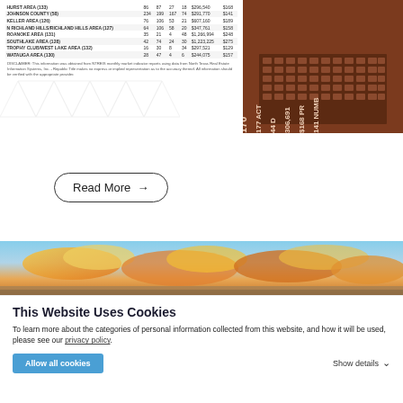| Area |  |  |  |  | Price |  |
| --- | --- | --- | --- | --- | --- | --- |
| HURST AREA (133) | 86 | 87 | 27 | 18 | $296,540 | $168 |
| JOHNSON COUNTY (58) | 234 | 199 | 167 | 74 | $291,770 | $141 |
| KELLER AREA (126) | 76 | 106 | 53 | 21 | $607,160 | $189 |
| N RICHLAND HILLS/RICHLAND HILLS AREA (127) | 64 | 106 | 58 | 20 | $347,761 | $158 |
| ROANOKE AREA (131) | 35 | 21 | 4 | 48 | $1,266,994 | $248 |
| SOUTHLAKE AREA (128) | 42 | 74 | 24 | 30 | $1,223,225 | $275 |
| TROPHY CLUB/WEST LAKE AREA (132) | 16 | 30 | 8 | 34 | $297,521 | $129 |
| WATAUGA AREA (130) | 28 | 47 | 4 | 6 | $244,075 | $157 |
DISCLAIMER: This information was obtained from NTREIS monthly market indicator reports using data from North Texas Real Estate Information Systems, Inc. - Republic Title makes no express or implied representation as to the accuracy thereof. All information should be verified with the appropriate provider.
[Figure (infographic): Dark brown infographic with building silhouette and statistics: 170, 177 ACT, 44 D, 306,691, $168 PR, 141 NUMB]
Read More →
[Figure (photo): Wide panoramic photo of dramatic sunset sky with orange and golden clouds]
This Website Uses Cookies
To learn more about the categories of personal information collected from this website, and how it will be used, please see our privacy policy.
Allow all cookies
Show details